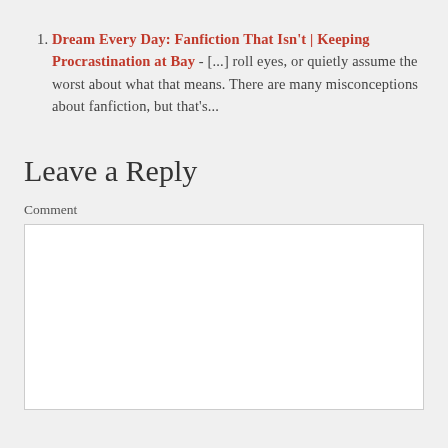Dream Every Day: Fanfiction That Isn't | Keeping Procrastination at Bay - [...] roll eyes, or quietly assume the worst about what that means. There are many misconceptions about fanfiction, but that's...
Leave a Reply
Comment